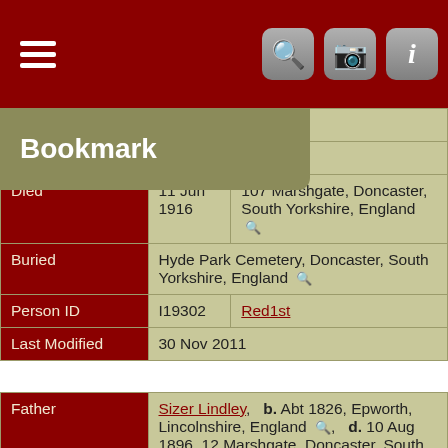[Figure (screenshot): Mobile app navigation bar with hamburger menu icon on left and three icon buttons (search, camera, info) on right, dark red background]
Bookmark
| Field | Value1 | Value2 |
| --- | --- | --- |
| Occupation | 1891  [3, 4] |  |
| Occupation | Labourer |  |
| Died | 11 Jun 1916 | 107 Marshgate, Doncaster, South Yorkshire, England |
| Buried | Hyde Park Cemetery, Doncaster, South Yorkshire, England |  |
| Person ID | I19302 | Red1st |
| Last Modified | 30 Nov 2011 |  |
| Field | Value |
| --- | --- |
| Father | Sizer Lindley,  b. Abt 1826, Epworth, Lincolnshire, England,  d. 10 Aug 1896, 12 Marshgate, Doncaster, South Yorkshire, England  (Age ~ 70 years) |